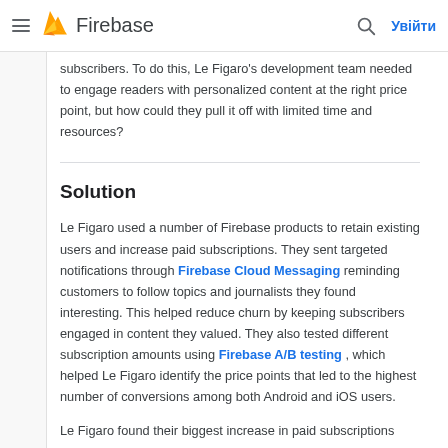Firebase — Увійти
subscribers. To do this, Le Figaro's development team needed to engage readers with personalized content at the right price point, but how could they pull it off with limited time and resources?
Solution
Le Figaro used a number of Firebase products to retain existing users and increase paid subscriptions. They sent targeted notifications through Firebase Cloud Messaging reminding customers to follow topics and journalists they found interesting. This helped reduce churn by keeping subscribers engaged in content they valued. They also tested different subscription amounts using Firebase A/B testing , which helped Le Figaro identify the price points that led to the highest number of conversions among both Android and iOS users.
Le Figaro found their biggest increase in paid subscriptions